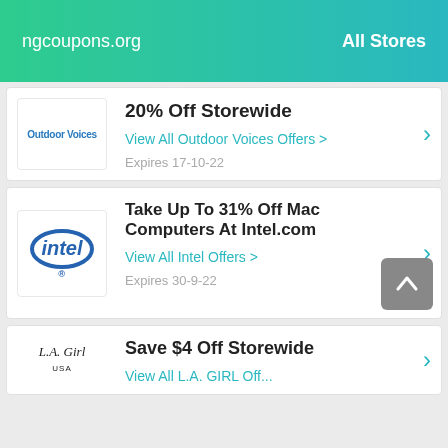ngcoupons.org   All Stores
20% Off Storewide
View All Outdoor Voices Offers >
Expires 17-10-22
Take Up To 31% Off Mac Computers At Intel.com
View All Intel Offers >
Expires 30-9-22
Save $4 Off Storewide
View All L.A. GIRL Offers >